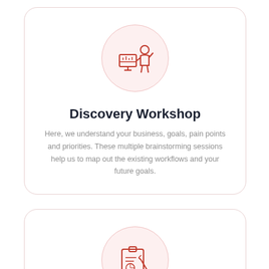[Figure (illustration): Red line-art icon of a person presenting at a desk/workstation inside a pink circle, representing a discovery workshop]
Discovery Workshop
Here, we understand your business, goals, pain points and priorities. These multiple brainstorming sessions help us to map out the existing workflows and your future goals.
[Figure (illustration): Red line-art icon of a clipboard with chart and pen inside a pink circle, representing strategy and solution planning]
Strategy and Solution